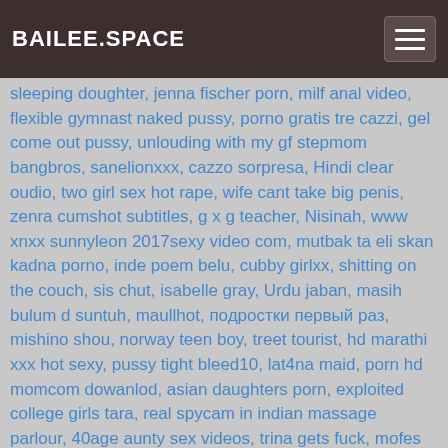BAILEE.SPACE
sleeping doughter, jenna fischer porn, milf anal video, flexible gymnast naked pussy, porno gratis tre cazzi, gel come out pussy, unlouding with my gf stepmom bangbros, sanelionxxx, cazzo sorpresa, Hindi clear oudio, two girl sex hot rape, wife cant take big penis, zenra cumshot subtitles, g x g teacher, Nisinah, www xnxx sunnyleon 2017sexy video com, mutbak ta eli skan kadna porno, inde poem belu, cubby girlxx, shitting on the couch, sis chut, isabelle gray, Urdu jaban, masih bulum d suntuh, maullhot, подростки первый раз, mishino shou, norway teen boy, treet tourist, hd marathi xxx hot sexy, pussy tight bleed10, lat4na maid, porn hd momcom dowanlod, asian daughters porn, exploited college girls tara, real spycam in indian massage parlour, 40age aunty sex videos, trina gets fuck, mofes sex hd com, face pov, culik dan rogol 4, india 4, sex porn o, amy anderssen interracial, secs voice, www x